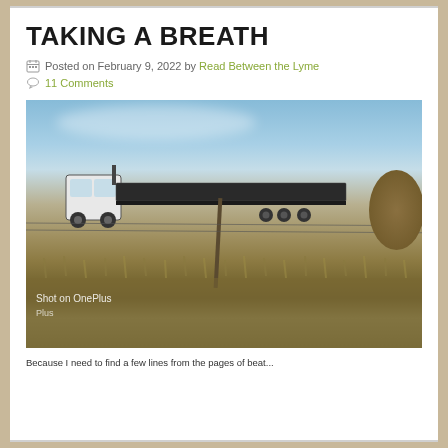TAKING A BREATH
Posted on February 9, 2022 by Read Between the Lyme
11 Comments
[Figure (photo): A white flatbed truck with a long trailer parked in a rural field with dry brown grass, a wooden fence post, a hay bale on the right, and a blue sky with light clouds above. Watermark reads 'Shot on OnePlus'.]
Because I need to find a few lines from the pages of beat...